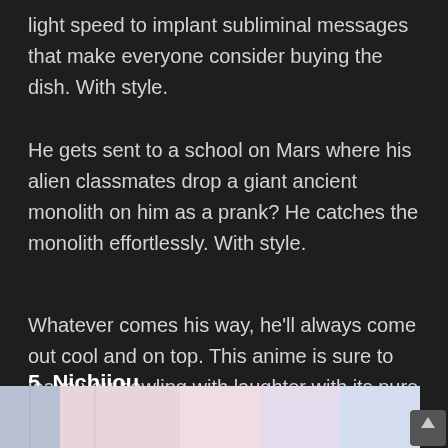light speed to implant subliminal messages that make everyone consider buying the dish. With style.
He gets sent to a school on Mars where his alien classmates drop a giant ancient monolith on him as a prank? He catches the monolith effortlessly. With style.
Whatever comes his way, he’ll always come out cool and on top. This anime is sure to leave you howling with laughter with its pure absurdity.
5. Nichijou
[Figure (illustration): Bottom strip showing a partial anime illustration with light pastel colors (pink, blue, purple tones), partially cut off at the bottom of the page. A scroll-to-top button appears in the bottom right corner.]